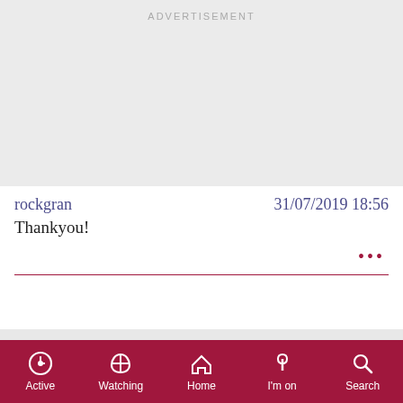[Figure (other): Advertisement banner placeholder at top of page]
rockgran
31/07/2019 18:56
Thankyou!
[Figure (other): Advertisement banner placeholder in middle of page]
Active | Watching | Home | I'm on | Search